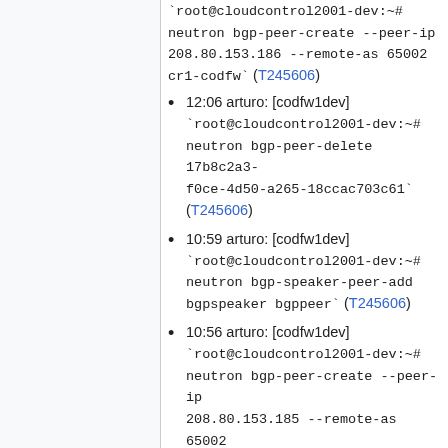12:06 arturo: [codfw1dev] `root@cloudcontrol2001-dev:~# neutron bgp-peer-create --peer-ip 208.80.153.186 --remote-as 65002 cr1-codfw` (T245606)
12:06 arturo: [codfw1dev] `root@cloudcontrol2001-dev:~# neutron bgp-peer-delete 17b8c2a3-f0ce-4d50-a265-18ccac703c61` (T245606)
10:59 arturo: [codfw1dev] `root@cloudcontrol2001-dev:~# neutron bgp-speaker-peer-add bgpspeaker bgppeer` (T245606)
10:56 arturo: [codfw1dev] `root@cloudcontrol2001-dev:~# neutron bgp-peer-create --peer-ip 208.80.153.185 --remote-as 65002 bgppeer` (T245606)
2020-02-21